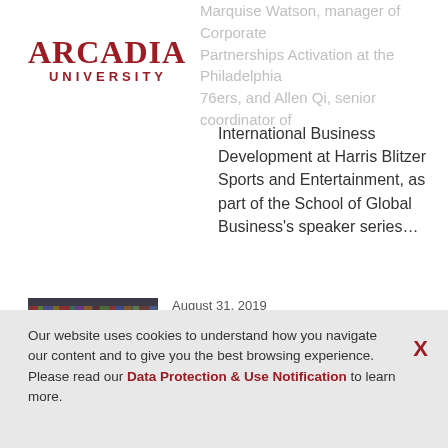[Figure (logo): Arcadia University logo in red serif/sans text]
Marquise Watson, manager of Corporate Partnerships Activation at the Philadelphia 76ers, and Allen Qi, senior coordinator of International Business Development at Harris Blitzer Sports and Entertainment, as part of the School of Global Business's speaker series...
school of global business    sport management
August 31, 2019
Dr. Kim Publishes in 'Managerial and Decision Economics'
[Figure (photo): Photo of Dr. Kim, a man in a suit and tie standing in front of bookshelves]
Our website uses cookies to understand how you navigate our content and to give you the best browsing experience. Please read our Data Protection & Use Notification to learn more.